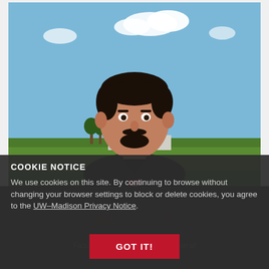[Figure (photo): A man with dark curly hair, mustache and beard, wearing a black polo shirt with a red Wisconsin 'W' logo, standing outdoors in front of a farm field with a cloudy blue sky background.]
COOKIE NOTICE
We use cookies on this site. By continuing to browse without changing your browser settings to block or delete cookies, you agree to the UW–Madison Privacy Notice.
GOT IT!